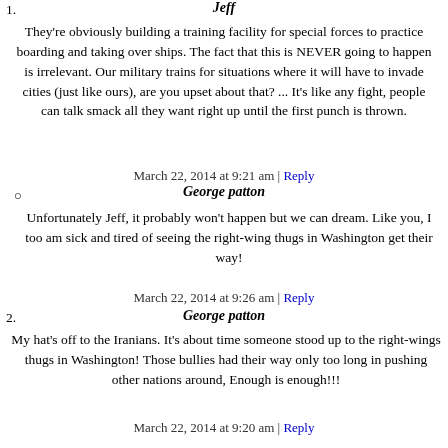1.
Jeff
They're obviously building a training facility for special forces to practice boarding and taking over ships. The fact that this is NEVER going to happen is irrelevant. Our military trains for situations where it will have to invade cities (just like ours), are you upset about that? ... It's like any fight, people can talk smack all they want right up until the first punch is thrown.
March 22, 2014 at 9:21 am | Reply
George patton
Unfortunately Jeff, it probably won't happen but we can dream. Like you, I too am sick and tired of seeing the right-wing thugs in Washington get their way!
March 22, 2014 at 9:26 am | Reply
2.
George patton
My hat's off to the Iranians. It's about time someone stood up to the right-wings thugs in Washington! Those bullies had their way only too long in pushing other nations around, Enough is enough!!!
March 22, 2014 at 9:20 am | Reply